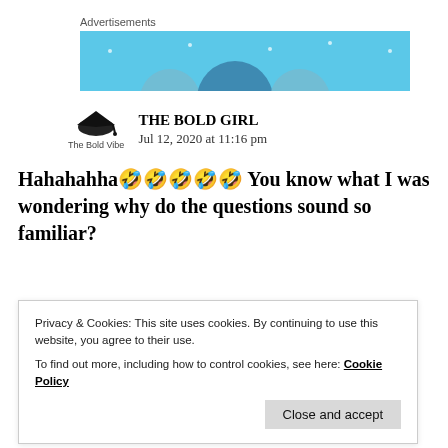Advertisements
[Figure (other): Blue advertisement banner with circular decorative elements]
THE BOLD GIRL
Jul 12, 2020 at 11:16 pm
Hahahahha🤣🤣🤣🤣🤣 You know what I was wondering why do the questions sound so familiar?
Privacy & Cookies: This site uses cookies. By continuing to use this website, you agree to their use.
To find out more, including how to control cookies, see here: Cookie Policy
Close and accept
I didn't know these questions are doing rounds since